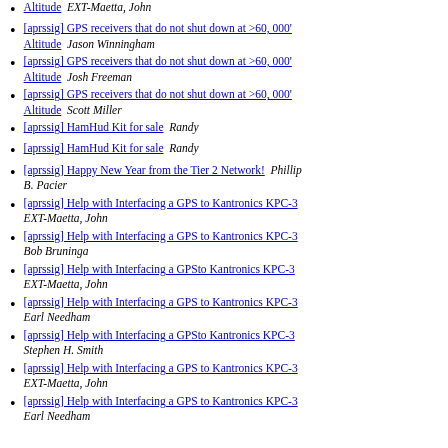[aprssig] GPS receivers that do not shut down at >60, 000' Altitude  EXT-Maetta, John
[aprssig] GPS receivers that do not shut down at >60, 000' Altitude  Jason Winningham
[aprssig] GPS receivers that do not shut down at >60, 000' Altitude  Josh Freeman
[aprssig] GPS receivers that do not shut down at >60, 000' Altitude  Scott Miller
[aprssig] HamHud Kit for sale  Randy
[aprssig] HamHud Kit for sale  Randy
[aprssig] Happy New Year from the Tier 2 Network!  Phillip B. Pacier
[aprssig] Help with Interfacing a GPS to Kantronics KPC-3  EXT-Maetta, John
[aprssig] Help with Interfacing a GPS to Kantronics KPC-3  Bob Bruninga
[aprssig] Help with Interfacing a GPSto Kantronics KPC-3  EXT-Maetta, John
[aprssig] Help with Interfacing a GPS to Kantronics KPC-3  Earl Needham
[aprssig] Help with Interfacing a GPSto Kantronics KPC-3  Stephen H. Smith
[aprssig] Help with Interfacing a GPS to Kantronics KPC-3  EXT-Maetta, John
[aprssig] Help with Interfacing a GPS to Kantronics KPC-3  Earl Needham